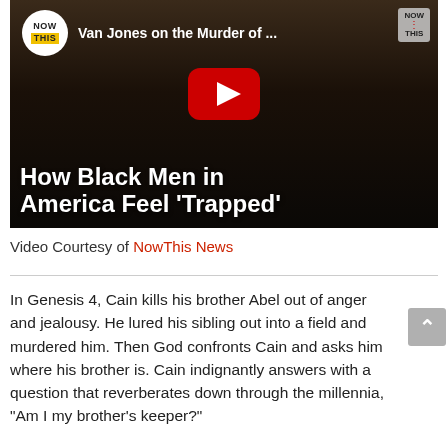[Figure (screenshot): YouTube video thumbnail from NowThis News showing Van Jones speaking, with overlay text 'How Black Men in America Feel Trapped' and a YouTube play button. Title bar reads 'Van Jones on the Murder of ...']
Video Courtesy of NowThis News
In Genesis 4, Cain kills his brother Abel out of anger and jealousy. He lured his sibling out into a field and murdered him. Then God confronts Cain and asks him where his brother is. Cain indignantly answers with a question that reverberates down through the millennia, “Am I my brother’s keeper?”